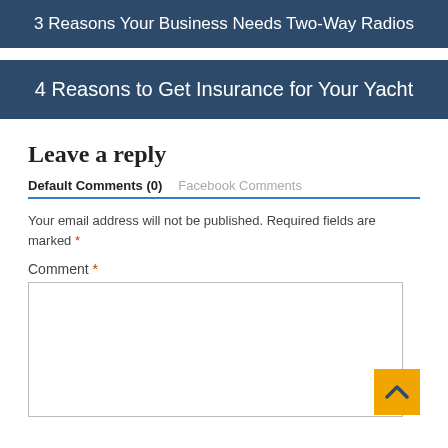3 Reasons Your Business Needs Two-Way Radios
4 Reasons to Get Insurance for Your Yacht
Leave a reply
Default Comments (0)	Facebook Comments
Your email address will not be published. Required fields are marked *
Comment *